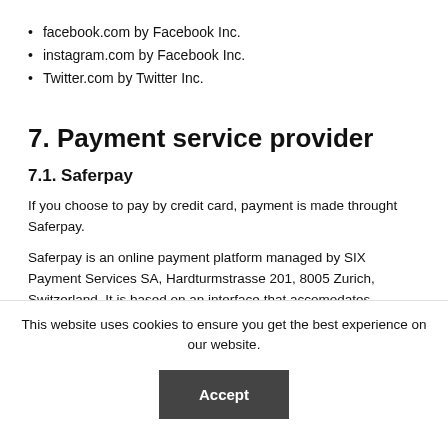facebook.com by Facebook Inc.
instagram.com by Facebook Inc.
Twitter.com by Twitter Inc.
7. Payment service provider
7.1. Saferpay
If you choose to pay by credit card, payment is made throught Saferpay.
Saferpay is an online payment platform managed by SIX Payment Services SA, Hardturmstrasse 201, 8005 Zurich, Switzerland. It is based on an interface that accomodates payment methods. Saferpay complies with
This website uses cookies to ensure you get the best experience on our website.